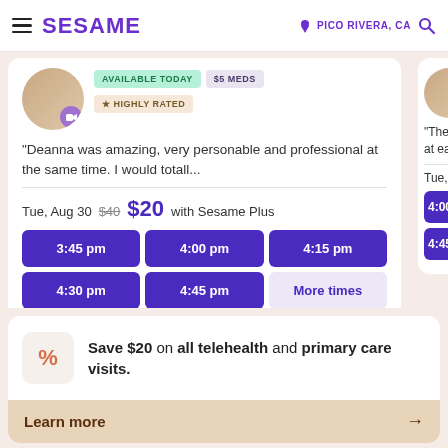SESAME | PICO RIVERA, CA
AVAILABLE TODAY | $5 MEDS | ★ HIGHLY RATED
"Deanna was amazing, very personable and professional at the same time. I would totall...
Tue, Aug 30  $40  $20 with Sesame Plus
3:45 pm | 4:00 pm | 4:15 pm | 4:30 pm | 4:45 pm | More times
"The doctor w... at ease imme...
Tue, Aug 30
4:00 pm | 4:45 pm
Save $20 on all telehealth and primary care visits.
Learn more →